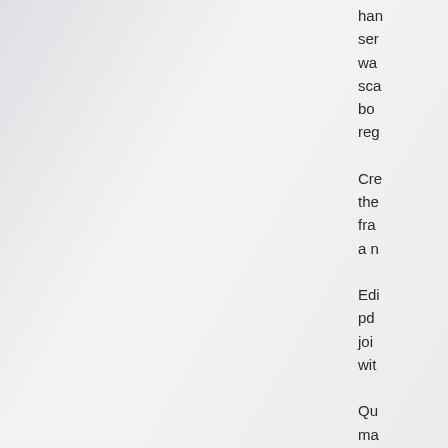han
ser
wa
sca
bo
reg

Cre
the
fra
a n

Edi
pd
joi
wit

Qu
ma
ha
an
be
res